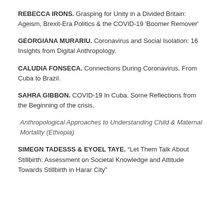REBECCA IRONS. Grasping for Unity in a Divided Britain: Ageism, Brexit-Era Politics & the COVID-19 'Boomer Remover'
GEORGIANA MURARIU. Coronavirus and Social Isolation: 16 Insights from Digital Anthropology.
CALUDIA FONSECA. Connections During Coronavirus. From Cuba to Brazil.
SAHRA GIBBON. COVID-19 In Cuba. Some Reflections from the Beginning of the crisis.
Anthropological Approaches to Understanding Child & Maternal Mortality (Ethiopia)
SIMEGN TADESSS & EYOEL TAYE. “Let Them Talk About Stillbirth: Assessment on Societal Knowledge and Attitude Towards Stillbirth in Harar City”